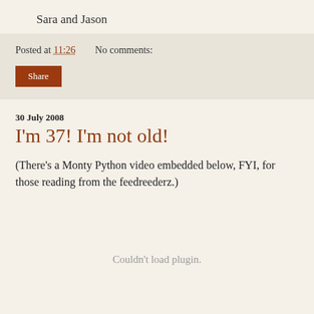Sara and Jason
Posted at 11:26    No comments:
Share
30 July 2008
I'm 37! I'm not old!
(There's a Monty Python video embedded below, FYI, for those reading from the feedreederz.)
Couldn't load plugin.